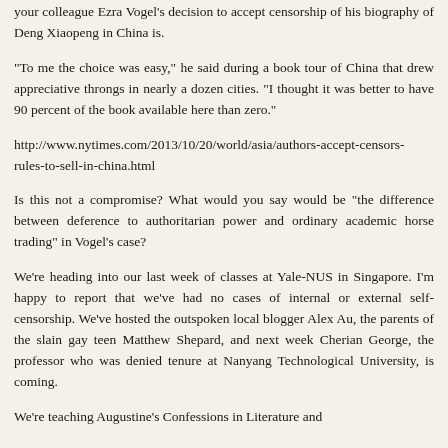your colleague Ezra Vogel's decision to accept censorship of his biography of Deng Xiaopeng in China is.
“To me the choice was easy,” he said during a book tour of China that drew appreciative throngs in nearly a dozen cities. “I thought it was better to have 90 percent of the book available here than zero.”
http://www.nytimes.com/2013/10/20/world/asia/authors-accept-censors-rules-to-sell-in-china.html
Is this not a compromise? What would you say would be "the difference between deference to authoritarian power and ordinary academic horse trading" in Vogel's case?
We’re heading into our last week of classes at Yale-NUS in Singapore. I’m happy to report that we’ve had no cases of internal or external self-censorship. We’ve hosted the outspoken local blogger Alex Au, the parents of the slain gay teen Matthew Shepard, and next week Cherian George, the professor who was denied tenure at Nanyang Technological University, is coming.
We’re teaching Augustine’s Confessions in Literature and